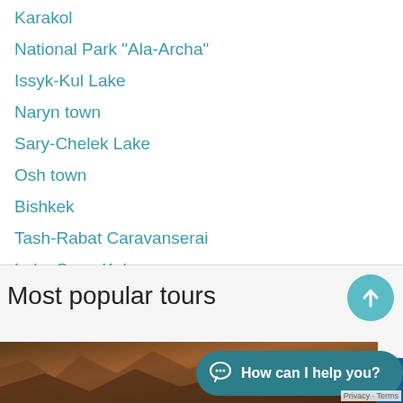Karakol
National Park "Ala-Archa"
Issyk-Kul Lake
Naryn town
Sary-Chelek Lake
Osh town
Bishkek
Tash-Rabat Caravanserai
Lake Song-Kol
Lake Kel-Suu
Most popular tours
[Figure (photo): Scenic mountain/canyon landscape photo strip at bottom of page]
How can I help you?